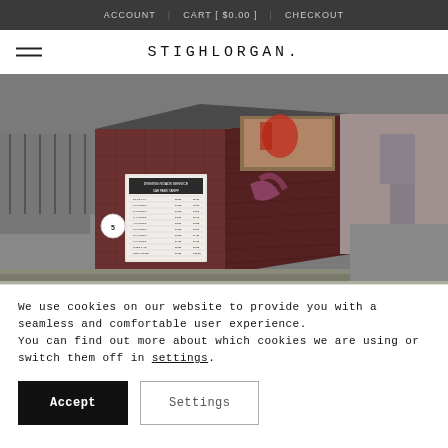ACCOUNT | CART [ $0.00 ] | CHECKOUT
STIGHLORGAN.
[Figure (photo): Photograph of a brick kiosk or booth with a car park tariff sign mounted on its wall, taken from a street corner. A graffiti mark is visible on the wall and the surrounding pavement is shown.]
We use cookies on our website to provide you with a seamless and comfortable user experience. You can find out more about which cookies we are using or switch them off in settings.
Accept
Settings